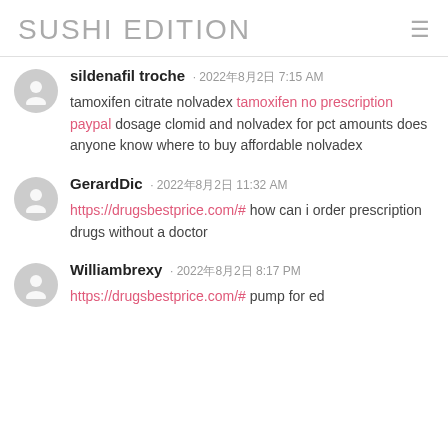SUSHI EDITION
sildenafil troche · 2022年8月2日 7:15 AM
tamoxifen citrate nolvadex tamoxifen no prescription paypal dosage clomid and nolvadex for pct amounts does anyone know where to buy affordable nolvadex
GerardDic · 2022年8月2日 11:32 AM
https://drugsbestprice.com/# how can i order prescription drugs without a doctor
Williambrexy · 2022年8月2日 8:17 PM
https://drugsbestprice.com/# pump for ed